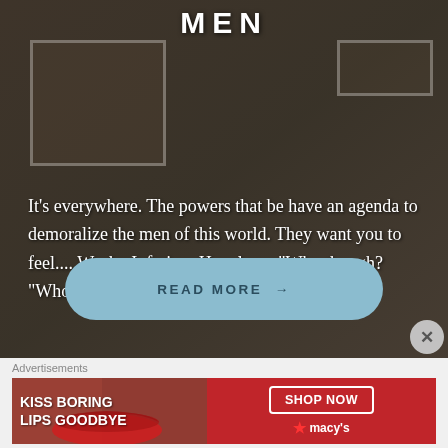MEN
It's everywhere. The powers that be have an agenda to demoralize the men of this world. They want you to feel.... Weak.  Inferior.  Hopeless.  “Why though? “Who?”...
[Figure (other): READ MORE → button (light blue rounded rectangle)]
[Figure (other): Close/X button (grey circle)]
Advertisements
[Figure (other): Advertisement banner: KISS BORING LIPS GOODBYE - SHOP NOW - macys star logo, red background with woman's lips photo]